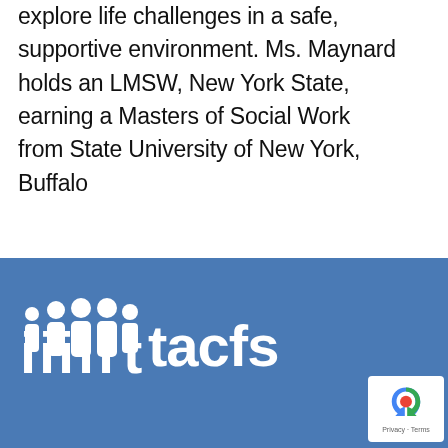explore life challenges in a safe, supportive environment. Ms. Maynard holds an LMSW, New York State, earning a Masters of Social Work from State University of New York, Buffalo
[Figure (logo): TACFS logo — stylized white figures above the text 'iiiiiitacfs' on a blue background]